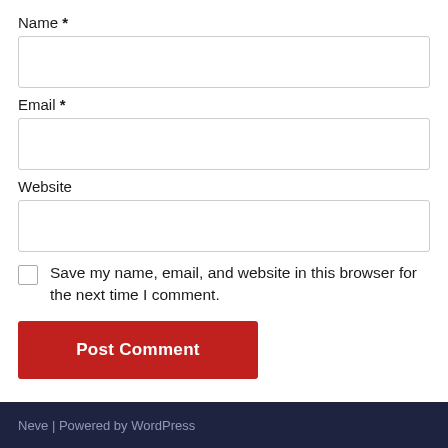Name *
Email *
Website
Save my name, email, and website in this browser for the next time I comment.
Post Comment
Neve | Powered by WordPress